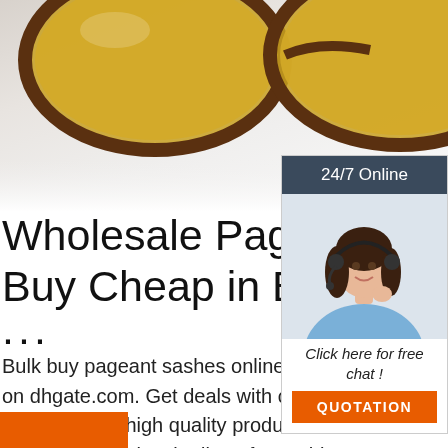[Figure (photo): Product photo showing amber-lensed sunglasses with brown frames on a light gray/white background]
Wholesale Pageant Sas... Buy Cheap in Bulk from ...
...
Bulk buy pageant sashes online from China on dhgate.com. Get deals with coupon and discount code! Source high quality products in hundreds of categories wholesale direct from China.
[Figure (infographic): Customer service widget with dark header '24/7 Online', photo of woman with headset, italic text 'Click here for free chat!', and orange QUOTATION button]
[Figure (logo): Orange TOP logo with dots above]